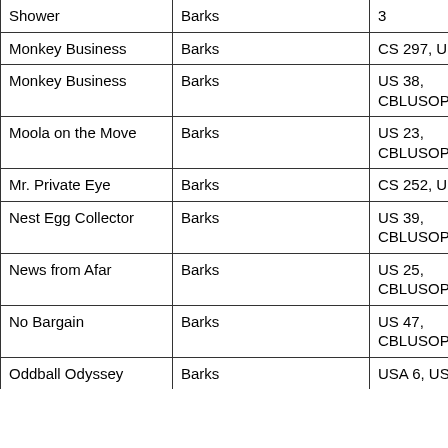| Shower | Barks | 3 |
| Monkey Business | Barks | CS 297, US 302 |
| Monkey Business | Barks | US 38, CBLUSOP 2 (G) |
| Moola on the Move | Barks | US 23, CBLUSOP 2 (G) |
| Mr. Private Eye | Barks | CS 252, US 304 |
| Nest Egg Collector | Barks | US 39, CBLUSOP 2 (G) |
| News from Afar | Barks | US 25, CBLUSOP 2 (G) |
| No Bargain | Barks | US 47, CBLUSOP 2 (G) |
| Oddball Odyssey | Barks | USA 6, US 40 |